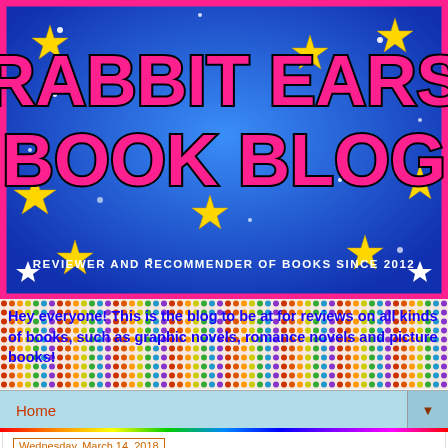[Figure (logo): Rabbit Ears Book Blog logo banner — pink bold text on blue starry background with gold stars, tagline: REVIEWER AND RECOMMENDER OF BOOKS SINCE 2012]
Hey everyone! This is the blog to be at for reviews on all kinds of books, such as graphic novels, romance novels and picture books!
Home
Wednesday, March 14, 2018
Waiting on Wednesday #81: Atlas Fallen by Jessica Pierce